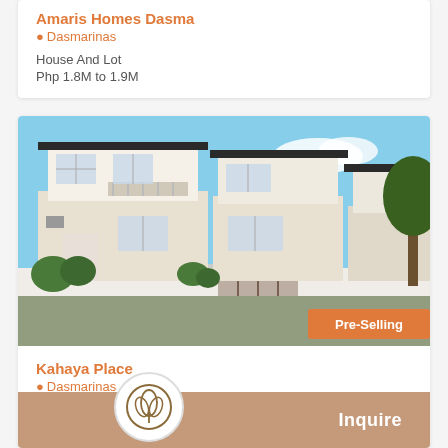Amaris Homes Dasma
Dasmarinas
House And Lot
Php 1.8M to 1.9M
[Figure (photo): Row of modern two-storey white townhouses with balconies and landscaping under blue sky. Pre-Selling badge in bottom right corner.]
Kahaya Place
Dasmarinas
House And Lot
Php 2.2M to
[Figure (logo): Circular logo with leaf/tulip design]
Inquire